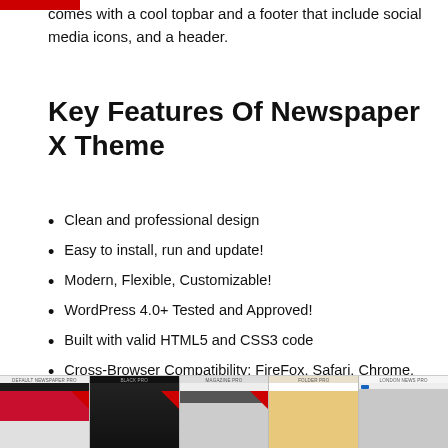comes with a cool topbar and a footer that include social media icons, and a header.
Key Features Of Newspaper X Theme
Clean and professional design
Easy to install, run and update!
Modern, Flexible, Customizable!
WordPress 4.0+ Tested and Approved!
Built with valid HTML5 and CSS3 code
Cross-Browser Compatibility: FireFox, Safari, Chrome, IE11+
One-Click demo install
[Figure (screenshot): A horizontal strip showing five WordPress theme demo screenshots labeled: DEFAULT NEWSPAPER PRO, BLACK PRO, MAGAZINE PRO, FOLDER PRO, LONDON NEWS PRO]